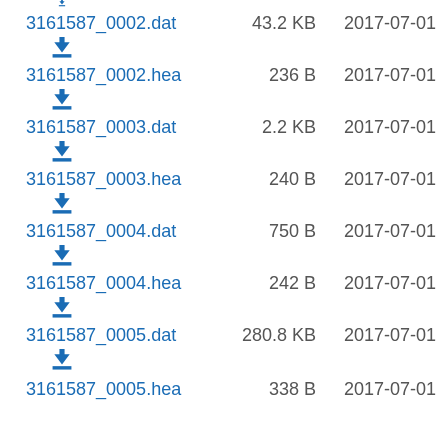3161587_0002.dat  43.2 KB  2017-07-01
3161587_0002.hea  236 B  2017-07-01
3161587_0003.dat  2.2 KB  2017-07-01
3161587_0003.hea  240 B  2017-07-01
3161587_0004.dat  750 B  2017-07-01
3161587_0004.hea  242 B  2017-07-01
3161587_0005.dat  280.8 KB  2017-07-01
3161587_0005.hea  338 B  2017-07-01